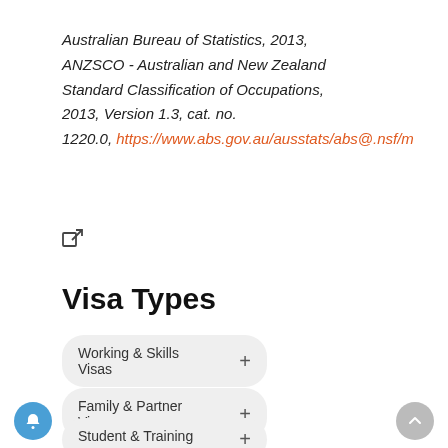Australian Bureau of Statistics, 2013, ANZSCO - Australian and New Zealand Standard Classification of Occupations, 2013, Version 1.3, cat. no. 1220.0, https://www.abs.gov.au/ausstats/abs@.nsf/m
Visa Types
Working & Skills Visas +
Family & Partner Visas +
Student & Training +